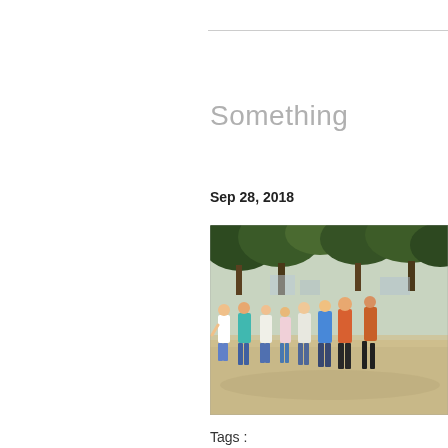Something
Sep 28, 2018
[Figure (photo): Children standing in a line outdoors on a sandy area with trees in the background, appearing to be at a school or park event.]
Tags :